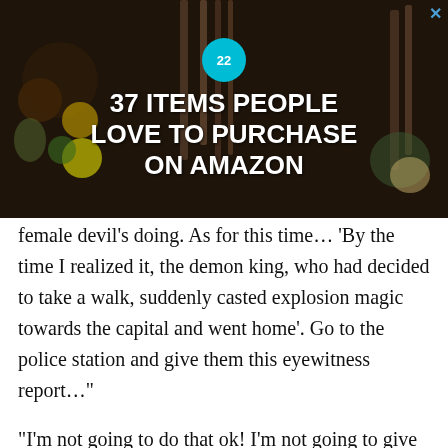[Figure (other): Advertisement banner: dark background with kitchen knives and food items, teal badge with '22', white bold text '37 ITEMS PEOPLE LOVE TO PURCHASE ON AMAZON', X close button top right]
female devil’s doing. As for this time… ‘By the time I realized it, the demon king, who had decided to take a walk, suddenly casted explosion magic towards the capital and went home’. Go to the police station and give them this eyewitness report…”
“I’m not going to do that ok! I’m not going to give such an idiotic testimony ok!?”
As Yunyun continued to complain, Iris – going about at her own pace – lifted me up in a bridal carry.